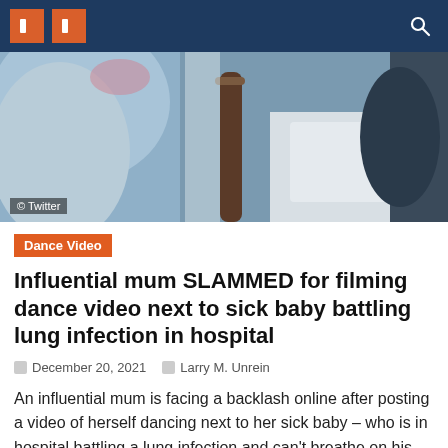Navigation header with icons
[Figure (photo): A photo of a hospital bed setting, blurry background with metal bed rails and white bedding. Credit: © Twitter]
© Twitter
Dance Video
Influential mum SLAMMED for filming dance video next to sick baby battling lung infection in hospital
December 20, 2021   Larry M. Unrein
An influential mum is facing a backlash online after posting a video of herself dancing next to her sick baby – who is in hospital battling a lung infection and can't breathe on his own . Georgia's Whitney Leavitt sparked a review storm after showing off her moves on TikTok as her ailing son Liam